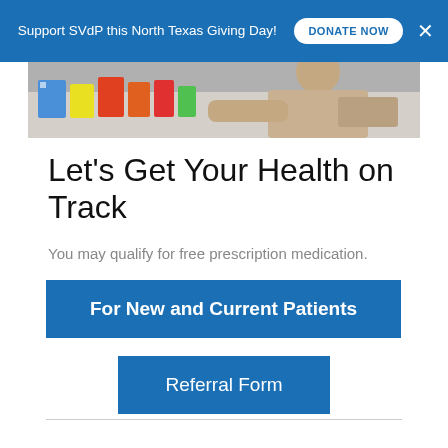Support SVdP this North Texas Giving Day! DONATE NOW ×
[Figure (photo): Person handling prescription medication boxes at a counter]
Let's Get Your Health on Track
You may qualify for free prescription medication.
For New and Current Patients
Referral Form